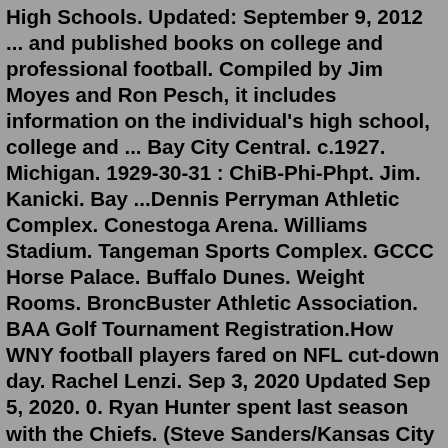High Schools. Updated: September 9, 2012 ... and published books on college and professional football. Compiled by Jim Moyes and Ron Pesch, it includes information on the individual's high school, college and ... Bay City Central. c.1927. Michigan. 1929-30-31 : ChiB-Phi-Phpt. Jim. Kanicki. Bay ...Dennis Perryman Athletic Complex. Conestoga Arena. Williams Stadium. Tangeman Sports Complex. GCCC Horse Palace. Buffalo Dunes. Weight Rooms. BroncBuster Athletic Association. BAA Golf Tournament Registration.How WNY football players fared on NFL cut-down day. Rachel Lenzi. Sep 3, 2020 Updated Sep 5, 2020. 0. Ryan Hunter spent last season with the Chiefs. (Steve Sanders/Kansas City Chiefs) A busy day ...Aug 27, 2022 · Nassau CC Lions Football ©Nassau Community College A Part of the State University of New York System (SUNY) ONE EDUCATION DRIVE, GARDEN CITY, NEW YORK 11530-6793 516.572.7501 Aug 15, 2022 · Garden City Community College. Tyreek commenced football with the Broncbusters football team at Garden City